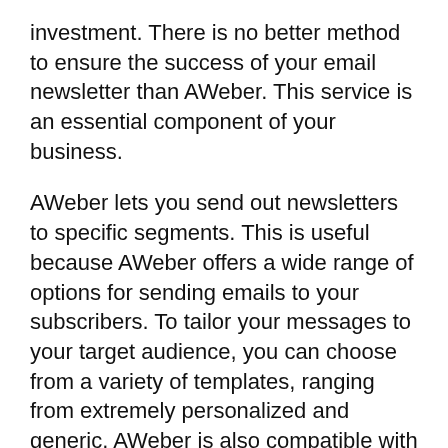investment. There is no better method to ensure the success of your email newsletter than AWeber. This service is an essential component of your business.
AWeber lets you send out newsletters to specific segments. This is useful because AWeber offers a wide range of options for sending emails to your subscribers. To tailor your messages to your target audience, you can choose from a variety of templates, ranging from extremely personalized and generic. AWeber is also compatible with a range of email clients. AWeber also has many other advantages such as the fact that it’s very simple to use and is an essential tool for businesses that operate online.